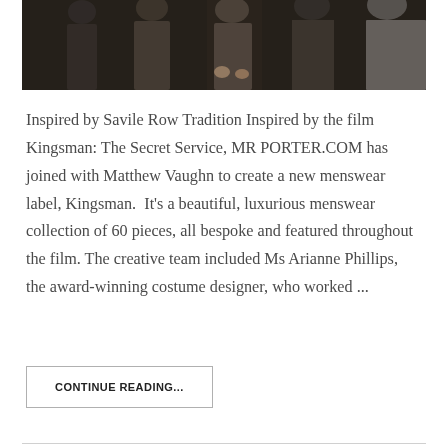[Figure (photo): Dark photograph showing men in suits, likely a scene from the film Kingsman: The Secret Service]
Inspired by Savile Row Tradition Inspired by the film Kingsman: The Secret Service, MR PORTER.COM has joined with Matthew Vaughn to create a new menswear label, Kingsman.  It's a beautiful, luxurious menswear collection of 60 pieces, all bespoke and featured throughout the film. The creative team included Ms Arianne Phillips, the award-winning costume designer, who worked ...
CONTINUE READING...